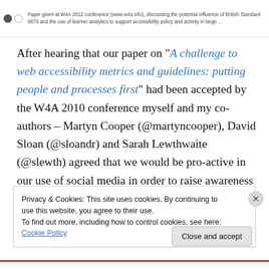Paper given at W4A 2012 conference (www.w4a.info), discussing the potential influence of British Standard 8878 and the use of learner analytics to support accessibility policy and activity in large ...
After hearing that our paper on “A challenge to web accessibility metrics and guidelines: putting people and processes first” had been accepted by the W4A 2010 conference myself and my co-authors – Martyn Cooper (@martyncooper), David Sloan (@sloandr) and Sarah Lewthwaite (@slewth) agreed that we would be pro-active in our use of social media in order to raise awareness of our paper and the ideas outlined in the paper, hoping that this would lead to real-world actions: citations from other
Privacy & Cookies: This site uses cookies. By continuing to use this website, you agree to their use.
To find out more, including how to control cookies, see here: Cookie Policy
Close and accept